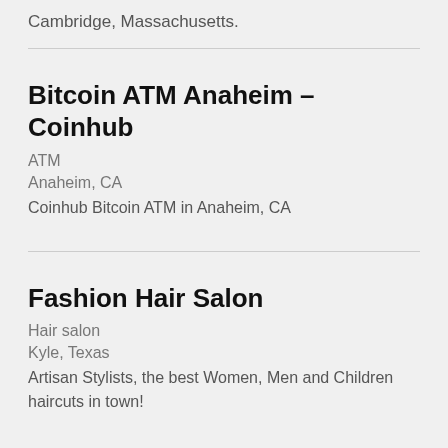Cambridge, Massachusetts.
Bitcoin ATM Anaheim – Coinhub
ATM
Anaheim, CA
Coinhub Bitcoin ATM in Anaheim, CA
Fashion Hair Salon
Hair salon
Kyle, Texas
Artisan Stylists, the best Women, Men and Children haircuts in town!